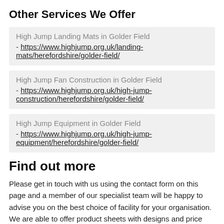Other Services We Offer
High Jump Landing Mats in Golder Field - https://www.highjump.org.uk/landing-mats/herefordshire/golder-field/
High Jump Fan Construction in Golder Field - https://www.highjump.org.uk/high-jump-construction/herefordshire/golder-field/
High Jump Equipment in Golder Field - https://www.highjump.org.uk/high-jump-equipment/herefordshire/golder-field/
Find out more
Please get in touch with us using the contact form on this page and a member of our specialist team will be happy to advise you on the best choice of facility for your organisation. We are able to offer product sheets with designs and price estimates for high jump fan